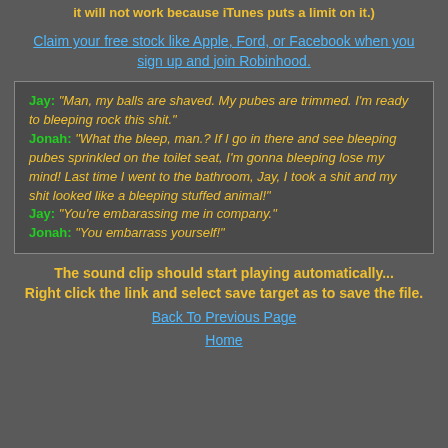it will not work because iTunes puts a limit on it.)
Claim your free stock like Apple, Ford, or Facebook when you sign up and join Robinhood.
Jay: "Man, my balls are shaved. My pubes are trimmed. I'm ready to bleeping rock this shit." Jonah: "What the bleep, man.? If I go in there and see bleeping pubes sprinkled on the toilet seat, I'm gonna bleeping lose my mind! Last time I went to the bathroom, Jay, I took a shit and my shit looked like a bleeping stuffed animal!" Jay: "You're embarassing me in company." Jonah: "You embarrass yourself!"
The sound clip should start playing automatically... Right click the link and select save target as to save the file.
Back To Previous Page
Home